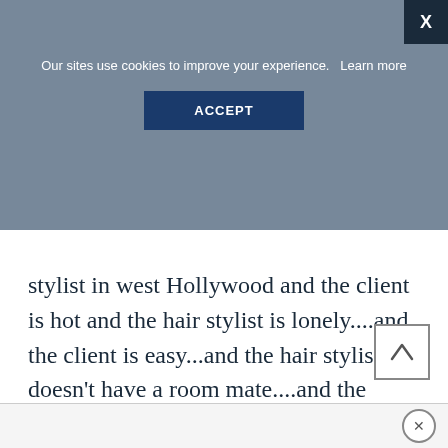stylist in west Hollywood and the client is hot and the hair stylist is lonely....and the client is easy...and the hair stylist doesn’t have a room mate....and the client doesn’t have very good self esteem....
[Figure (screenshot): Cookie consent overlay with blue-grey background showing message 'Our sites use cookies to improve your experience. Learn more' with an ACCEPT button and an X close button in the top right corner.]
[Figure (other): Scroll-to-top button with upward-pointing triangle/caret icon inside a square border.]
[Figure (other): Bottom advertisement/notification bar with a circular X close button on the right side.]